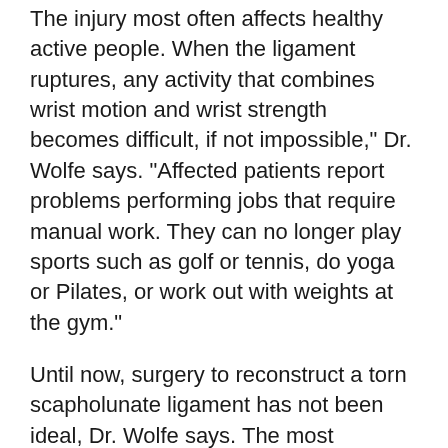The injury most often affects healthy active people. When the ligament ruptures, any activity that combines wrist motion and wrist strength becomes difficult, if not impossible," Dr. Wolfe says. "Affected patients report problems performing jobs that require manual work. They can no longer play sports such as golf or tennis, do yoga or Pilates, or work out with weights at the gym."
Until now, surgery to reconstruct a torn scapholunate ligament has not been ideal, Dr. Wolfe says. The most common repair, which entails the use of metal wires and pins, fails in about 30 percent of patients.
In searching for a better treatment, Dr. Wolfe and his research team studied what happens in the wrist after the ligament tears in his laboratory. Once they identified the mechanism and involved ligaments